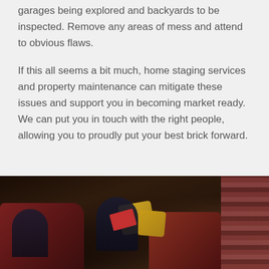garages being explored and backyards to be inspected. Remove any areas of mess and attend to obvious flaws.
If this all seems a bit much, home staging services and property maintenance can mitigate these issues and support you in becoming market ready. We can put you in touch with the right people, allowing you to proudly put your best brick forward.
[Figure (photo): Interior photo of a dark, cozy living room with leather couches, yellow cushions, people sitting, one person holding a book/magazine, and a decorative rug visible on the right side.]